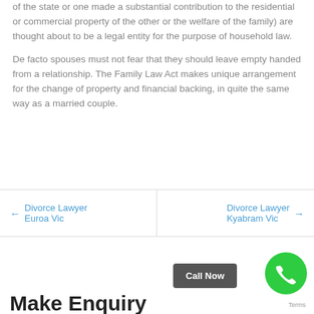of the state or one made a substantial contribution to the residential or commercial property of the other or the welfare of the family) are thought about to be a legal entity for the purpose of household law.
De facto spouses must not fear that they should leave empty handed from a relationship. The Family Law Act makes unique arrangement for the change of property and financial backing, in quite the same way as a married couple.
← Divorce Lawyer Euroa Vic
Divorce Lawyer Kyabram Vic →
Call Now
Make Enquiry